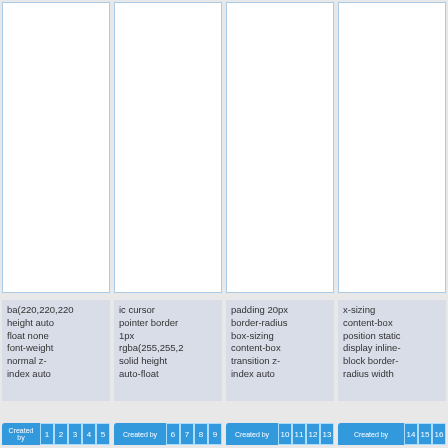[Figure (screenshot): Four white rectangular panels arranged in a row with light blue borders, representing UI card panels.]
ba(220,220,220 height auto float none font-weight normal z-index auto
ic cursor pointer border 1px rgba(255,255,2 solid height auto-float
padding 20px border-radius box-sizing content-box transition z-index auto
x-sizing content-box position static display inline-block border-radius width
Created by 1 2 3 4 5 | Created by 6 7 8 9 | Created by 10 11 12 13 | Created by 14 15 16